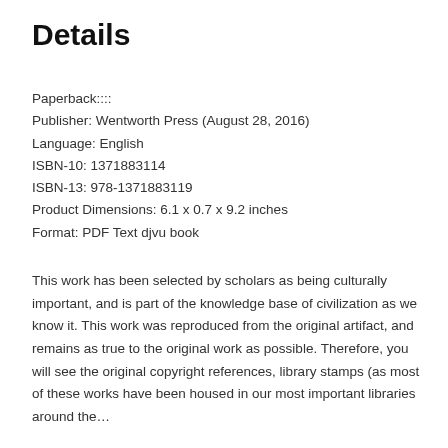Details
Paperback::::
Publisher: Wentworth Press (August 28, 2016)
Language: English
ISBN-10: 1371883114
ISBN-13: 978-1371883119
Product Dimensions: 6.1 x 0.7 x 9.2 inches
Format: PDF Text djvu book
This work has been selected by scholars as being culturally important, and is part of the knowledge base of civilization as we know it. This work was reproduced from the original artifact, and remains as true to the original work as possible. Therefore, you will see the original copyright references, library stamps (as most of these works have been housed in our most important libraries around the...